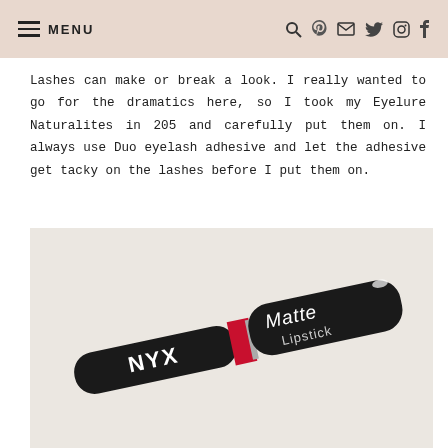MENU
Lashes can make or break a look. I really wanted to go for the dramatics here, so I took my Eyelure Naturalites in 205 and carefully put them on. I always use Duo eyelash adhesive and let the adhesive get tacky on the lashes before I put them on.
[Figure (photo): NYX Matte Lipstick in a black tube with red lipstick visible, lying on a light surface]